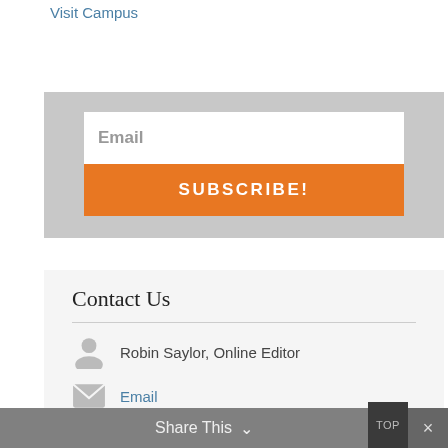Visit Campus
Email
SUBSCRIBE!
Contact Us
Robin Saylor, Online Editor
Email
Share This  ∨